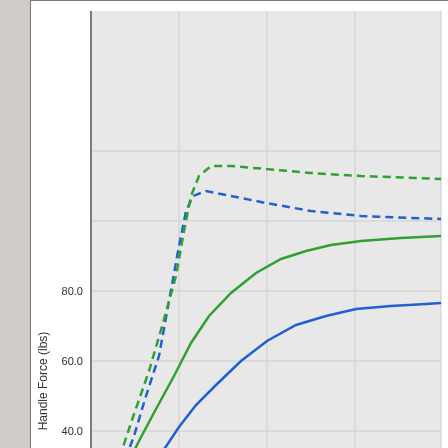[Figure (continuous-plot): Line chart showing Handle Force (lbs) on y-axis (0.0 to 80.0+) versus Percent of Be[d] on x-axis (0% to 30%+). Contains four series: a red solid line (lowest, reaching ~27 lbs), a blue solid line (mid, reaching ~83 lbs), and two green lines (solid and dashed, reaching ~90+ lbs), plus a dashed blue line. Curves rise steeply then flatten.]
Specifications:
Tire Size: up to 18x6:00-6
Weight: 12 lbs
Construction: Steel (welded and bolted)